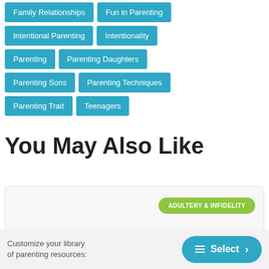Family Relationships
Fun in Parenting
Intentional Parenting
Intentionality
Parenting
Parenting Daughters
Parenting Sons
Parenting Techniques
Parenting Trait
Teenagers
You May Also Like
[Figure (screenshot): Card with green badge reading ADULTERY & INFIDELITY]
Customize your library of parenting resources:
Select